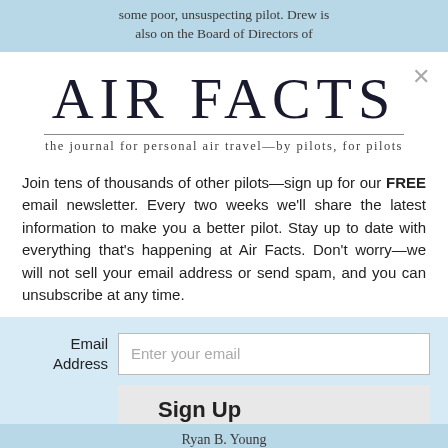some poor, unsuspecting pilot. Drew is also on the Board of Directors of
AIR FACTS
the journal for personal air travel—by pilots, for pilots
Join tens of thousands of other pilots—sign up for our FREE email newsletter. Every two weeks we'll share the latest information to make you a better pilot. Stay up to date with everything that's happening at Air Facts. Don't worry—we will not sell your email address or send spam, and you can unsubscribe at any time.
Email Address
Enter your email
Sign Up
Ryan B. Young